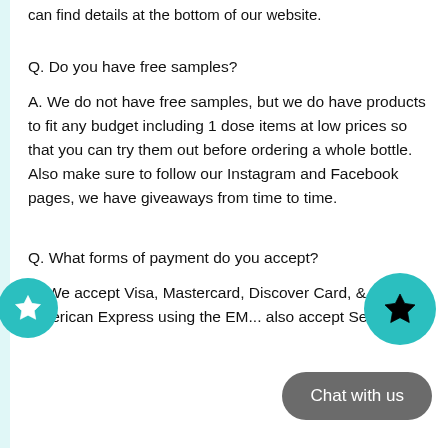can find details at the bottom of our website.
Q. Do you have free samples?
A. We do not have free samples, but we do have products to fit any budget including 1 dose items at low prices so that you can try them out before ordering a whole bottle. Also make sure to follow our Instagram and Facebook pages, we have giveaways from time to time.
Q. What forms of payment do you accept?
A. We accept Visa, Mastercard, Discover Card, & American Express using the EM... also accept Sezzle.